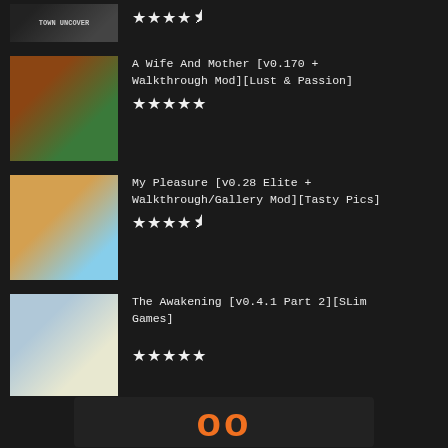[TOWN UNCOVER] ★★★★½
A Wife And Mother [v0.170 + Walkthrough Mod][Lust & Passion] ★★★★★
My Pleasure [v0.28 Elite + Walkthrough/Gallery Mod][Tasty Pics] ★★★★½
The Awakening [v0.4.1 Part 2][SLim Games] ★★★★★
Long Live the Princess [v0.42.0 Subscribestar][Belle] ★★★★★
[Figure (logo): Orange logo/banner at bottom]